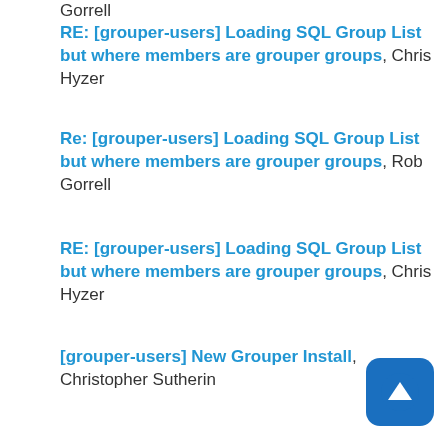RE: [grouper-users] Loading SQL Group List but where members are grouper groups, Chris Hyzer
Re: [grouper-users] Loading SQL Group List but where members are grouper groups, Rob Gorrell
RE: [grouper-users] Loading SQL Group List but where members are grouper groups, Chris Hyzer
[grouper-users] New Grouper Install, Christopher Sutherin
RE: [grouper-users] New Grouper Install, Chris Hyzer
15/10/20
RE: [grouper-users] Some fixes are missing in grouper 2.2.2, Chris Hyzer